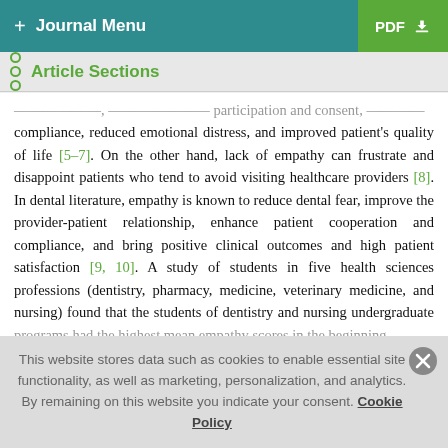+ Journal Menu | PDF
Article Sections
compliance, reduced emotional distress, and improved patient's quality of life [5–7]. On the other hand, lack of empathy can frustrate and disappoint patients who tend to avoid visiting healthcare providers [8]. In dental literature, empathy is known to reduce dental fear, improve the provider-patient relationship, enhance patient cooperation and compliance, and bring positive clinical outcomes and high patient satisfaction [9, 10]. A study of students in five health sciences professions (dentistry, pharmacy, medicine, veterinary medicine, and nursing) found that the students of dentistry and nursing undergraduate programs had the highest mean empathy scores in the beginning
This website stores data such as cookies to enable essential site functionality, as well as marketing, personalization, and analytics. By remaining on this website you indicate your consent. Cookie Policy